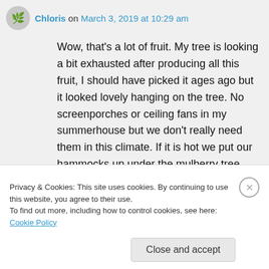Chloris on March 3, 2019 at 10:29 am
Wow, that's a lot of fruit. My tree is looking a bit exhausted after producing all this fruit, I should have picked it ages ago but it looked lovely hanging on the tree. No screenporches or ceiling fans in my summerhouse but we don't really need them in this climate. If it is hot we put our hammocks up under the mulberry tree.
Reply
Privacy & Cookies: This site uses cookies. By continuing to use this website, you agree to their use.
To find out more, including how to control cookies, see here: Cookie Policy
Close and accept